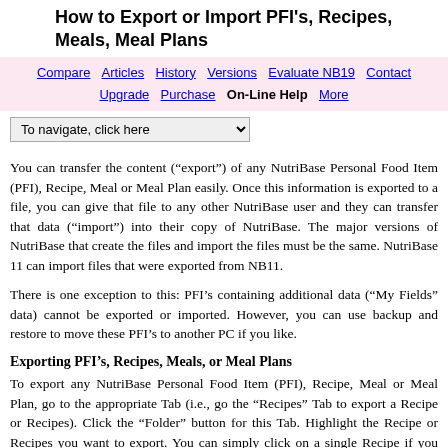How to Export or Import PFI's, Recipes, Meals, Meal Plans
Compare  Articles  History  Versions  Evaluate NB19  Contact  Upgrade  Purchase  On-Line Help  More
To navigate, click here
You can transfer the content (“export”) of any NutriBase Personal Food Item (PFI), Recipe, Meal or Meal Plan easily. Once this information is exported to a file, you can give that file to any other NutriBase user and they can transfer that data (“import”) into their copy of NutriBase. The major versions of NutriBase that create the files and import the files must be the same. NutriBase 11 can import files that were exported from NB11.
There is one exception to this: PFI’s containing additional data (“My Fields” data) cannot be exported or imported. However, you can use backup and restore to move these PFI’s to another PC if you like.
Exporting PFI’s, Recipes, Meals, or Meal Plans
To export any NutriBase Personal Food Item (PFI), Recipe, Meal or Meal Plan, go to the appropriate Tab (i.e., go the “Recipes” Tab to export a Recipe or Recipes). Click the “Folder” button for this Tab. Highlight the Recipe or Recipes you want to export. You can simply click on a single Recipe if you only want to export one Recipe. You can hold the Shift key down and use the mouse to select the first and last Recipe in a range of Recipes. Or you can hold the Ctrl key down and use the mouse to “cherry pick” the Recipes you wish to export.